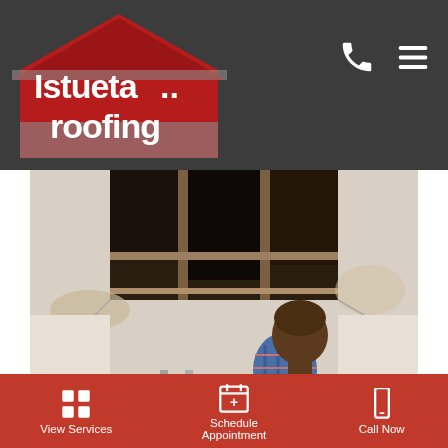[Figure (logo): Istueta Roofing logo with red house/roof shape and company name in white text on dark background header]
[Figure (photo): A man in a blue plaid shirt standing on a ladder, holding a yellow bowl to catch water dripping from a damaged ceiling with exposed beams and water damage]
Here in Miami, we just accept humidity as a way of life. It's a part of us. People from the Southwest will probably never understand it like we do. We've accepted it for a long time now.
View Services | Schedule Appointment | Call Now